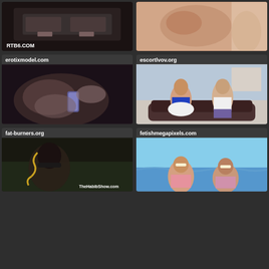[Figure (photo): Top left thumbnail with watermark RTB6.COM - dark bondage scene]
[Figure (photo): Top right thumbnail - close up adult content]
erotixmodel.com
[Figure (photo): Middle left thumbnail - dark adult content]
escortlvov.org
[Figure (photo): Middle right thumbnail - two people on couch, woman in blue top]
fat-burners.org
[Figure (photo): Bottom left thumbnail with watermark TheHabibShow.com]
fetishmegapixels.com
[Figure (photo): Bottom right thumbnail - two women in bikinis on beach]